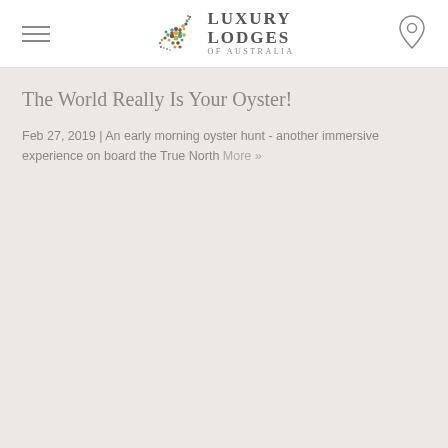LUXURY LODGES OF AUSTRALIA
The World Really Is Your Oyster!
Feb 27, 2019 | An early morning oyster hunt - another immersive experience on board the True North More »